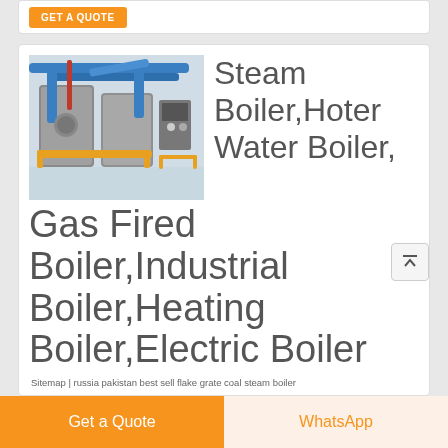[Figure (photo): Industrial steam boiler equipment with blue pipes and yellow fittings in a factory setting]
Steam Boiler,Hoter Water Boiler,Gas Fired Boiler,Industrial Boiler,Heating Boiler,Electric Boiler
Sitemap | russia pakistan best sell flake grate coal steam boiler